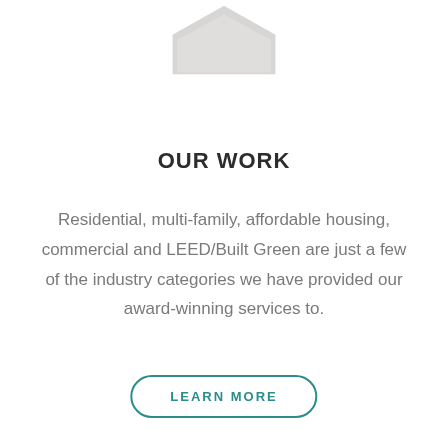[Figure (illustration): Partial view of a gray hexagon shape cropped at the top of the page]
OUR WORK
Residential, multi-family, affordable housing, commercial and LEED/Built Green are just a few of the industry categories we have provided our award-winning services to.
LEARN MORE